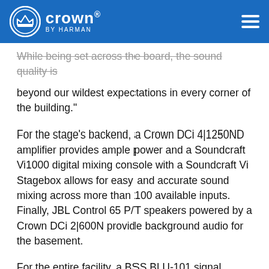Crown by Harman
While being set across the board, the sound quality is beyond our wildest expectations in every corner of the building."
For the stage’s backend, a Crown DCi 4|1250ND amplifier provides ample power and a Soundcraft Vi1000 digital mixing console with a Soundcraft Vi Stagebox allows for easy and accurate sound mixing across more than 100 available inputs. Finally, JBL Control 65 P/T speakers powered by a Crown DCi 2|600N provide background audio for the basement.
For the entire facility, a BSS BLU-101 signal processor ensures high-bandwidth processing and low-latency audio. BSS BLU-BIB input expanders in each area also allow for individual inputs in any part of the facility for events or live shows. Finally, BSS EC-8BV wall-mount controllers in